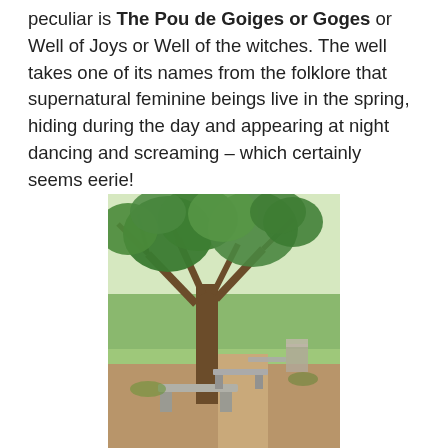peculiar is The Pou de Goiges or Goges or Well of Joys or Well of the witches. The well takes one of its names from the folklore that supernatural feminine beings live in the spring, hiding during the day and appearing at night dancing and screaming – which certainly seems eerie!
[Figure (photo): Outdoor scene showing a large tree with spreading branches and green foliage, several stone benches or slabs arranged along a dirt path, with green fields visible in the background under daylight.]